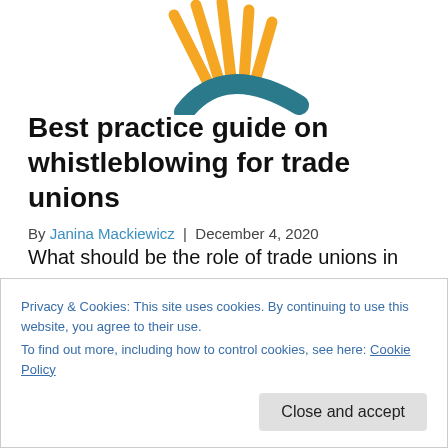[Figure (logo): Partial logo with orange rays and teal arc shape at top center of page]
Best practice guide on whistleblowing for trade unions
By Janina Mackiewicz | December 4, 2020
What should be the role of trade unions in whistleblowing? Which internal arrangements, should be in place to establish a culture which promotes whistleblowing?
Privacy & Cookies: This site uses cookies. By continuing to use this website, you agree to their use.
To find out more, including how to control cookies, see here: Cookie Policy
Close and accept